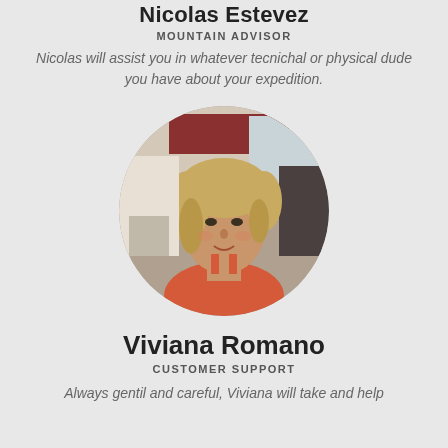Nicolas Estevez
MOUNTAIN ADVISOR
Nicolas will assist you in whatever tecnichal or physical dude you have about your expedition.
[Figure (photo): Circular profile photo of Viviana Romano, a woman with curly blonde hair wearing an orange top, in an indoor setting.]
Viviana Romano
CUSTOMER SUPPORT
Always gentil and careful, Viviana will take and help